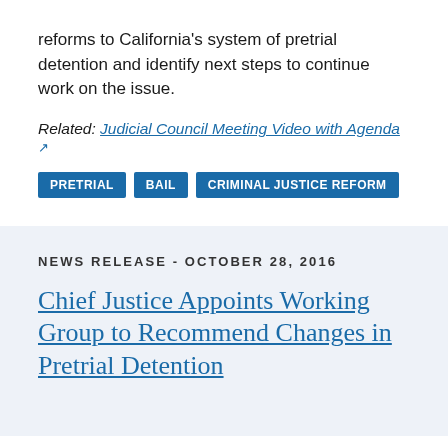reforms to California's system of pretrial detention and identify next steps to continue work on the issue.
Related: Judicial Council Meeting Video with Agenda [external link]
PRETRIAL   BAIL   CRIMINAL JUSTICE REFORM
NEWS RELEASE - OCTOBER 28, 2016
Chief Justice Appoints Working Group to Recommend Changes in Pretrial Detention